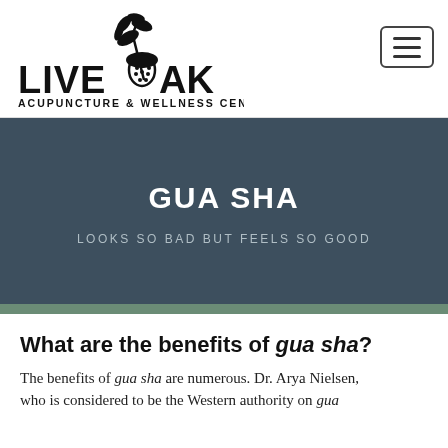[Figure (logo): Live Oak Acupuncture & Wellness Center logo with acorn and branch illustration]
GUA SHA
LOOKS SO BAD BUT FEELS SO GOOD
What are the benefits of gua sha?
The benefits of gua sha are numerous. Dr. Arya Nielsen, who is considered to be the Western authority on gua